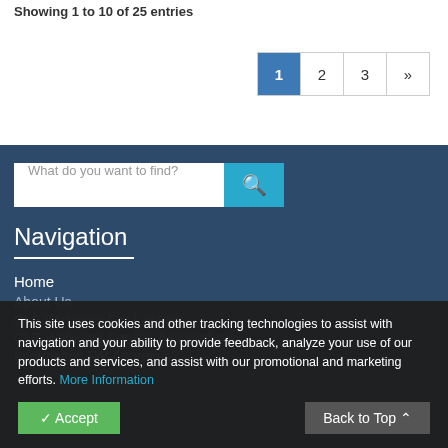Showing 1 to 10 of 25 entries
Pagination: 1 2 3 »
What do you want to find?
Navigation
Home
About Us
CLE Webinars For Lawyers
CLE Webinars For Bar Associations
Information For Attorneys?
This site uses cookies and other tracking technologies to assist with navigation and your ability to provide feedback, analyze your use of our products and services, and assist with our promotional and marketing efforts. More Information
Accept
Back to Top